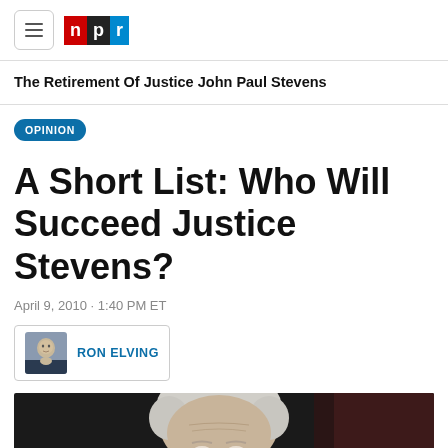NPR
The Retirement Of Justice John Paul Stevens
OPINION
A Short List: Who Will Succeed Justice Stevens?
April 9, 2010 · 1:40 PM ET
RON ELVING
[Figure (photo): Photo of an elderly man with white hair, looking forward against a dark background.]